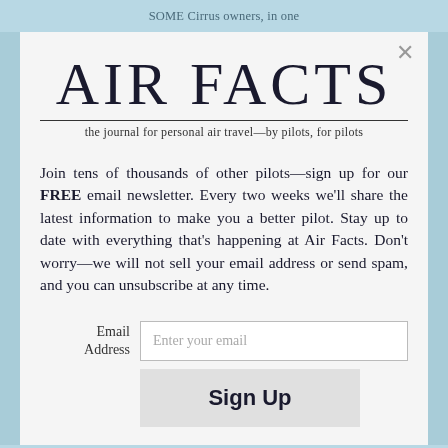SOME Cirrus owners, in one
AIR FACTS
the journal for personal air travel—by pilots, for pilots
Join tens of thousands of other pilots—sign up for our FREE email newsletter. Every two weeks we'll share the latest information to make you a better pilot. Stay up to date with everything that's happening at Air Facts. Don't worry—we will not sell your email address or send spam, and you can unsubscribe at any time.
Email Address  [Enter your email]
Sign Up
populated area downwind